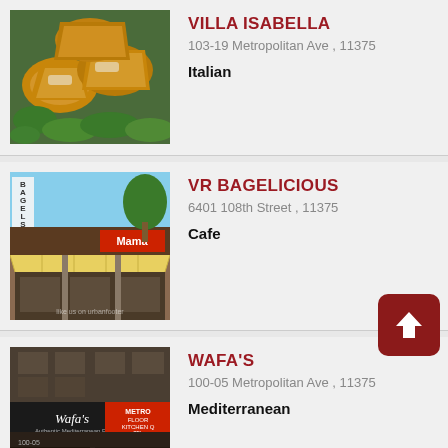[Figure (photo): Photo of Italian food - fried/breaded items on green salad leaves]
VILLA ISABELLA
103-19 Metropolitan Ave , 11375
Italian
[Figure (photo): Photo of VR Bagelicious storefront with Bagels sign visible]
VR BAGELICIOUS
6401 108th Street , 11375
Cafe
[Figure (photo): Photo of Wafa's restaurant storefront with Metro signage]
WAFA'S
100-05 Metropolitan Ave , 11375
Mediterranean